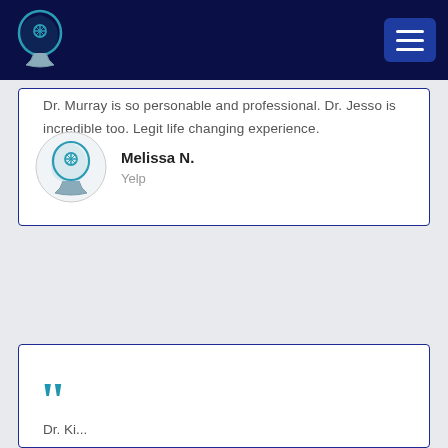[Figure (logo): Medical/psychology clinic logo — stylized human head profile with brain and star symbol, teal and gray colors]
Dr. Murray is so personable and professional. Dr. Jesso is incredible too. Legit life changing experience.
[Figure (logo): Small version of the same clinic logo used as reviewer avatar]
Melissa N.
Yelp
”
Dr. Ki...